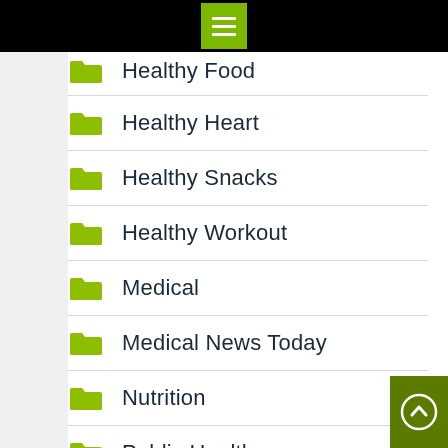[Figure (screenshot): Mobile app top navigation bar with hamburger menu button on black background]
Healthy Food
Healthy Heart
Healthy Snacks
Healthy Workout
Medical
Medical News Today
Nutrition
Public Health
The Gym Fitness
Womens Health